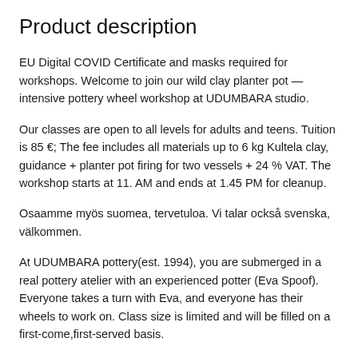Product description
EU Digital COVID Certificate and masks required for workshops. Welcome to join our wild clay planter pot — intensive pottery wheel workshop at UDUMBARA studio.
Our classes are open to all levels for adults and teens. Tuition is 85 €; The fee includes all materials up to 6 kg Kultela clay, guidance + planter pot firing for two vessels + 24 % VAT. The workshop starts at 11. AM and ends at 1.45 PM for cleanup.
Osaamme myös suomea, tervetuloa. Vi talar också svenska, välkommen.
At UDUMBARA pottery(est. 1994), you are submerged in a real pottery atelier with an experienced potter (Eva Spoof). Everyone takes a turn with Eva, and everyone has their wheels to work on. Class size is limited and will be filled on a first-come,first-served basis.
We will wedge and prepare you plenty of clay to practice throwing. You choose two planters for trimming, cleaning, and